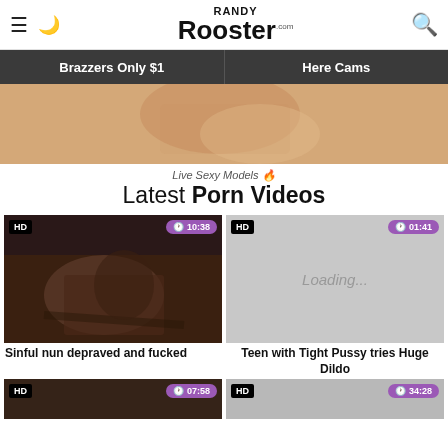Randy Rooster .com
Brazzers Only $1 | Here Cams
[Figure (photo): Banner image showing skin-toned background]
Live Sexy Models 🔥
Latest Porn Videos
[Figure (photo): HD video thumbnail - Sinful nun depraved and fucked, duration 10:38]
Sinful nun depraved and fucked
[Figure (photo): HD video thumbnail - Loading..., duration 01:41]
Teen with Tight Pussy tries Huge Dildo
[Figure (photo): HD video thumbnail partial - duration 07:58]
[Figure (photo): HD video thumbnail partial - duration 34:28]